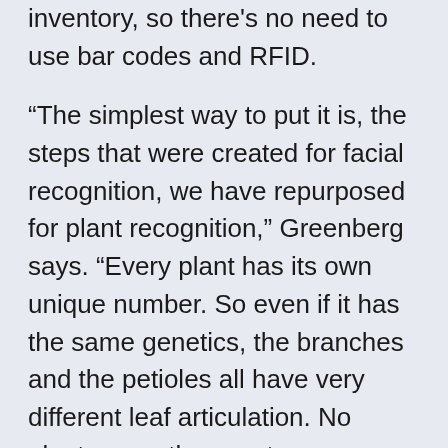inventory, so there's no need to use bar codes and RFID.
“The simplest way to put it is, the steps that were created for facial recognition, we have repurposed for plant recognition,” Greenberg says. “Every plant has its own unique number. So even if it has the same genetics, the branches and the petioles all have very different leaf articulation. No plants grow the exact same way, with the exact same structure, with the exact same leaf and flowers at the exact same time.”
King offers another analogy to humanize that idea.